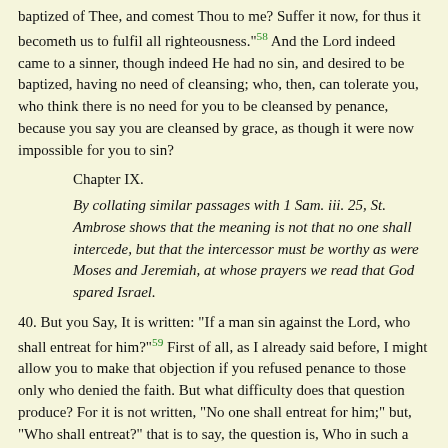baptized of Thee, and comest Thou to me? Suffer it now, for thus it becometh us to fulfil all righteousness."58 And the Lord indeed came to a sinner, though indeed He had no sin, and desired to be baptized, having no need of cleansing; who, then, can tolerate you, who think there is no need for you to be cleansed by penance, because you say you are cleansed by grace, as though it were now impossible for you to sin?
Chapter IX.
By collating similar passages with 1 Sam. iii. 25, St. Ambrose shows that the meaning is not that no one shall intercede, but that the intercessor must be worthy as were Moses and Jeremiah, at whose prayers we read that God spared Israel.
40. But you Say, It is written: "If a man sin against the Lord, who shall entreat for him?"59 First of all, as I already said before, I might allow you to make that objection if you refused penance to those only who denied the faith. But what difficulty does that question produce? For it is not written, "No one shall entreat for him;" but, "Who shall entreat?" that is to say, the question is, Who in such a case can entreat? The entreaty is not excluded.
41. Then you have in the fifteenth Psalm "Lord, who shall dwell in